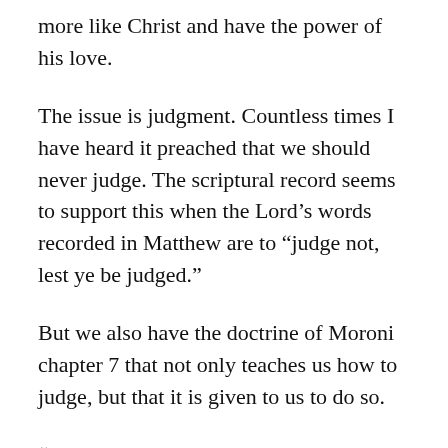more like Christ and have the power of his love.
The issue is judgment. Countless times I have heard it preached that we should never judge. The scriptural record seems to support this when the Lord’s words recorded in Matthew are to “judge not, lest ye be judged.”
But we also have the doctrine of Moroni chapter 7 that not only teaches us how to judge, but that it is given to us to do so.
“For behold, my brethren, it is given unto you to judge, that ye may know good from evil; and the way to judge is as plain, that ye may know with a perfect knowledge, as the daylight is